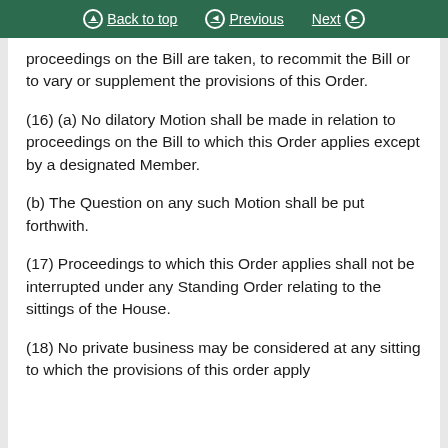Back to top   Previous   Next
proceedings on the Bill are taken, to recommit the Bill or to vary or supplement the provisions of this Order.
(16) (a) No dilatory Motion shall be made in relation to proceedings on the Bill to which this Order applies except by a designated Member.
(b) The Question on any such Motion shall be put forthwith.
(17) Proceedings to which this Order applies shall not be interrupted under any Standing Order relating to the sittings of the House.
(18) No private business may be considered at any sitting to which the provisions of this order apply